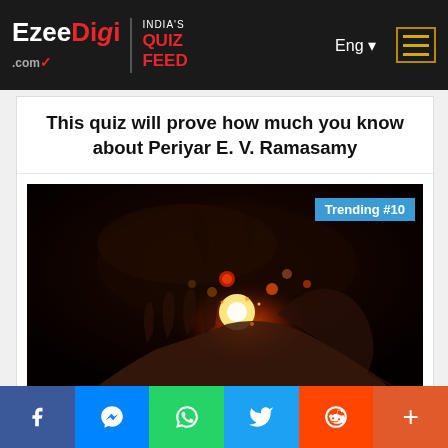EzeeDigi.com | INDIA'S QUIZ FEED — Eng
This quiz will prove how much you know about Periyar E. V. Ramasamy
[Figure (photo): Dramatic dark fantasy image of two cupped hands holding glowing cosmic elements — flames, planets, and light — against a black background. Top-right corner shows a badge reading 'Trending #10']
What superpower you should possess
Social share bar: Facebook, Messenger, WhatsApp, Twitter, Reddit, More (+)